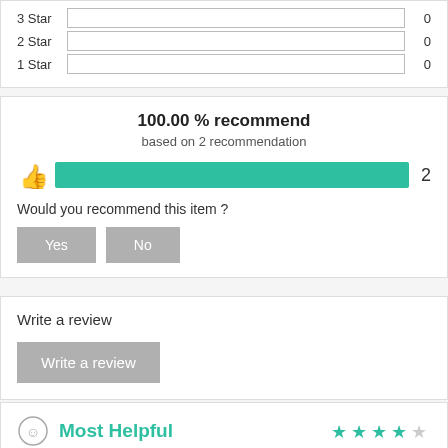| Star | Bar | Count |
| --- | --- | --- |
| 3 Star |  | 0 |
| 2 Star |  | 0 |
| 1 Star |  | 0 |
100.00 % recommend
based on 2 recommendation
[Figure (bar-chart): Thumbs up icon with a full green bar and count of 2]
Would you recommend this item ?
Yes
No
Write a review
Write a review
Most Helpful
[Figure (other): 4 out of 5 stars rating in teal/green]
Its ok, no isseus uptil now
Shasu